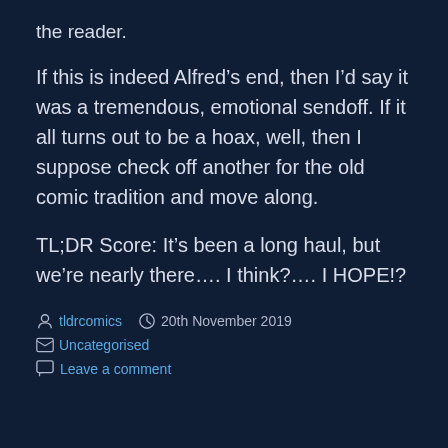the reader.
If this is indeed Alfred’s end, then I’d say it was a tremendous, emotional sendoff. If it all turns out to be a hoax, well, then I suppose check off another for the old comic tradition and move along.
TL;DR Score: It’s been a long haul, but we’re nearly there…. I think?…. I HOPE!?
tldrcomics  20th November 2019  Uncategorised
Leave a comment
Green Lantern: Rebirth
[Figure (photo): Partial image of Green Lantern: Rebirth comic cover showing green radial burst pattern at bottom of page]